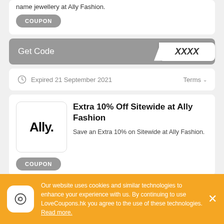name jewellery at Ally Fashion.
COUPON
Get Code  XXXX
Expired 21 September 2021
Terms
Extra 10% Off Sitewide at Ally Fashion
Save an Extra 10% on Sitewide at Ally Fashion.
COUPON
Get Code  XXXX
Our website uses cookies and similar technologies to enhance your experience with us. By continuing to use LoveCoupons.hk you agree to the use of these technologies. Read more.